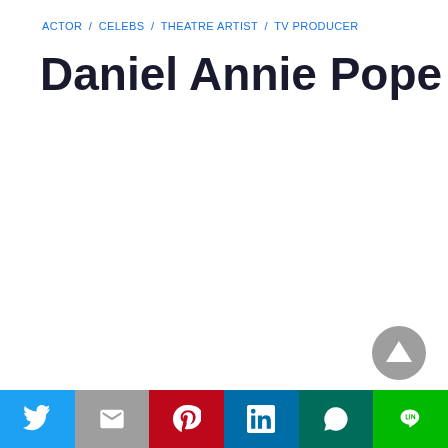ACTOR / CELEBS / THEATRE ARTIST / TV PRODUCER
Daniel Annie Pope
Share bar: Twitter, Gmail, Pinterest, LinkedIn, WhatsApp, Line